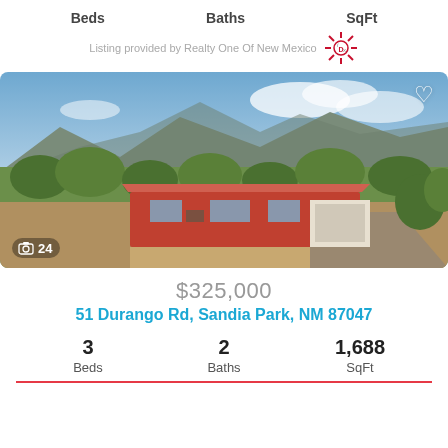Beds   Baths   SqFt
Listing provided by Realty One Of New Mexico
[Figure (photo): Aerial view of a single-story red ranch house with attached garage, surrounded by trees and scrubland, with mountain range in background. Sandia Park, NM.]
$325,000
51 Durango Rd, Sandia Park, NM 87047
| Beds | Baths | SqFt |
| --- | --- | --- |
| 3 | 2 | 1,688 |